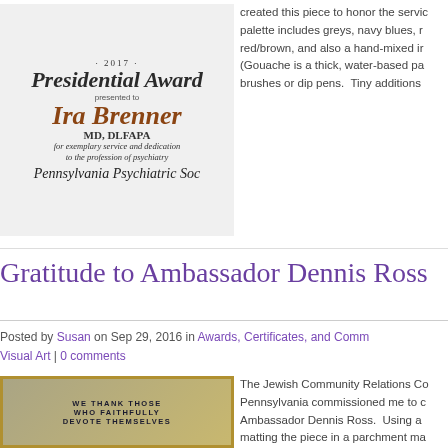[Figure (photo): Photo of a Presidential Award certificate from 2017 presented to Ira Brenner MD, DLFAPA for exemplary service and dedication to the profession of psychiatry from the Pennsylvania Psychiatric Society]
created this piece to honor the service palette includes greys, navy blues, red/brown, and also a hand-mixed ir (Gouache is a thick, water-based pa brushes or dip pens.  Tiny additions
Gratitude to Ambassador Dennis Ross
Posted by Susan on Sep 29, 2016 in Awards, Certificates, and Comm Visual Art | 0 comments
[Figure (photo): Photo of a framed award or certificate with text 'WE THANK THOSE WHO FAITHFULLY DEVOTE THEMSELVES' with an American flag visible in the background, matted in parchment]
The Jewish Community Relations Co Pennsylvania commissioned me to c Ambassador Dennis Ross.  Using a matting the piece in a parchment ma